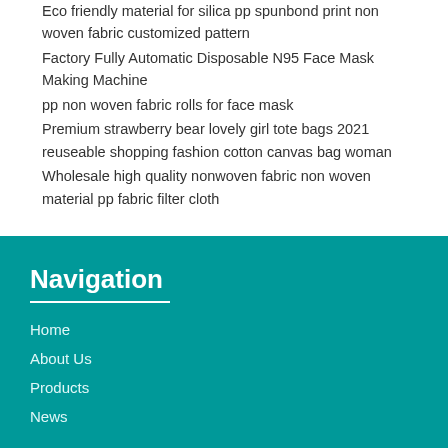Eco friendly material for silica pp spunbond print non woven fabric customized pattern
Factory Fully Automatic Disposable N95 Face Mask Making Machine
pp non woven fabric rolls for face mask
Premium strawberry bear lovely girl tote bags 2021 reuseable shopping fashion cotton canvas bag woman
Wholesale high quality nonwoven fabric non woven material pp fabric filter cloth
Navigation
Home
About Us
Products
News